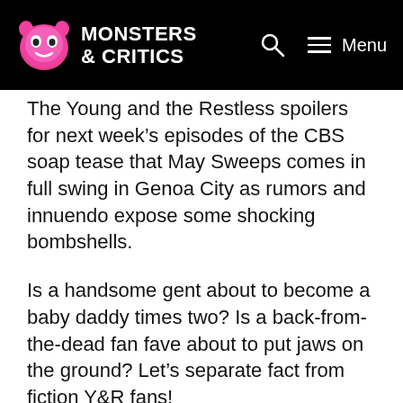Monsters & Critics
The Young and the Restless spoilers for next week’s episodes of the CBS soap tease that May Sweeps comes in full swing in Genoa City as rumors and innuendo expose some shocking bombshells.
Is a handsome gent about to become a baby daddy times two? Is a back-from-the-dead fan fave about to put jaws on the ground? Let’s separate fact from fiction Y&R fans!
Victor (Eric Braeden) doesn’t know the meaning of the word dull, and in the coming days, he will